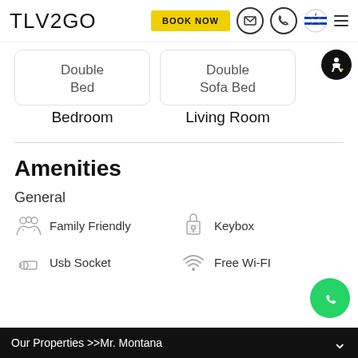TLV2GO — BOOK NOW
Double Bed — Bedroom
Double Sofa Bed — Living Room
Amenities
General
Family Friendly
Keybox
Usb Socket
Free Wi-Fi
Our Properties >>Mr. Montana